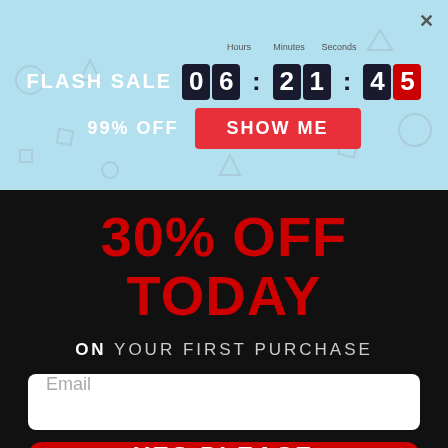[Figure (screenshot): Flash sale banner with countdown timer showing 06:21:45, 99% OFF label, and SHOW ME button on light blue background with decorative geometric shapes]
30% OFF TODAY
ON YOUR FIRST PURCHASE
Email (input field placeholder)
YES PLEASE
DECLINE ONE TIME OFFER